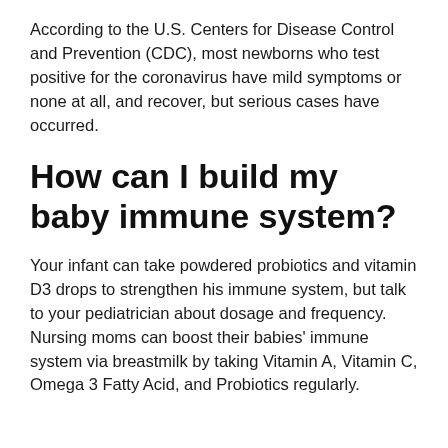According to the U.S. Centers for Disease Control and Prevention (CDC), most newborns who test positive for the coronavirus have mild symptoms or none at all, and recover, but serious cases have occurred.
How can I build my baby immune system?
Your infant can take powdered probiotics and vitamin D3 drops to strengthen his immune system, but talk to your pediatrician about dosage and frequency. Nursing moms can boost their babies' immune system via breastmilk by taking Vitamin A, Vitamin C, Omega 3 Fatty Acid, and Probiotics regularly.